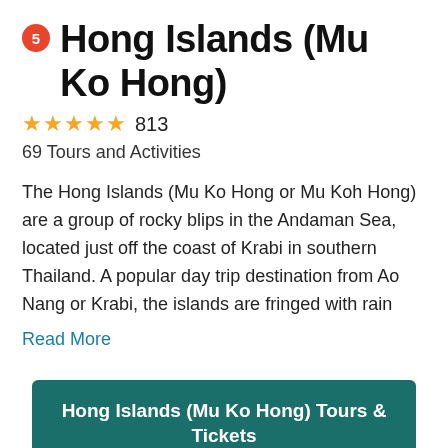5 Hong Islands (Mu Ko Hong)
★★★★★ 813
69 Tours and Activities
The Hong Islands (Mu Ko Hong or Mu Koh Hong) are a group of rocky blips in the Andaman Sea, located just off the coast of Krabi in southern Thailand. A popular day trip destination from Ao Nang or Krabi, the islands are fringed with rain
Read More
Hong Islands (Mu Ko Hong) Tours & Tickets